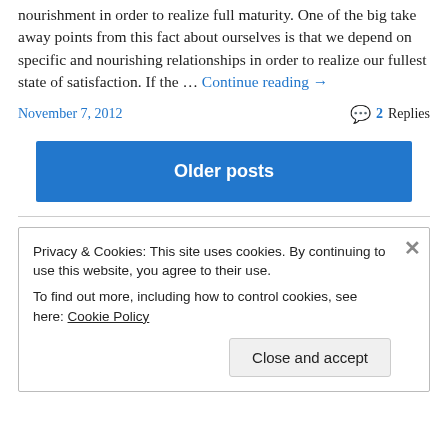nourishment in order to realize full maturity. One of the big take away points from this fact about ourselves is that we depend on specific and nourishing relationships in order to realize our fullest state of satisfaction. If the … Continue reading →
November 7, 2012
2 Replies
Older posts
Privacy & Cookies: This site uses cookies. By continuing to use this website, you agree to their use. To find out more, including how to control cookies, see here: Cookie Policy
Close and accept